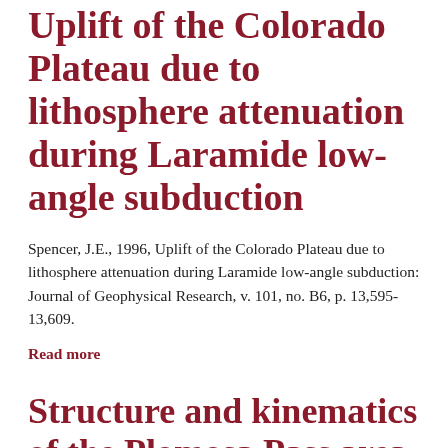Uplift of the Colorado Plateau due to lithosphere attenuation during Laramide low-angle subduction
Spencer, J.E., 1996, Uplift of the Colorado Plateau due to lithosphere attenuation during Laramide low-angle subduction: Journal of Geophysical Research, v. 101, no. B6, p. 13,595-13,609.
Read more
Structure and kinematics of the Plomosa Pass area,